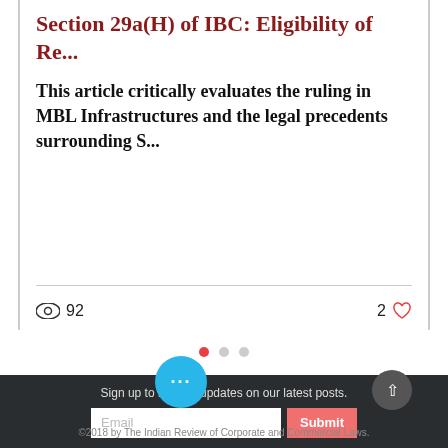Section 29a(H) of IBC: Eligibility of Re...
This article critically evaluates the ruling in MBL Infrastructures and the legal precedents surrounding S...
92 views · 2 likes
[Figure (infographic): Carousel navigation dots: one red active dot and two grey inactive dots]
Sign up to receive updates on our latest posts.
Email input and Submit button
©2018 by The Indian Review of Corporate and Commercial Laws.